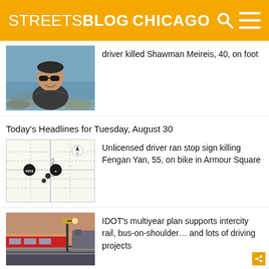STREETSBLOG CHICAGO
driver killed Shawman Meireis, 40, on foot
[Figure (photo): Portrait photo of a person wearing sunglasses outdoors near rocky shoreline]
Today's Headlines for Tuesday, August 30
[Figure (map): Street map showing intersection near Stewart St with location markers]
Unlicensed driver ran stop sign killing Fengan Yan, 55, on bike in Armour Square
[Figure (photo): Photo of a train station at dusk with street lamp]
IDOT's multiyear plan supports intercity rail, bus-on-shoulder… and lots of driving projects